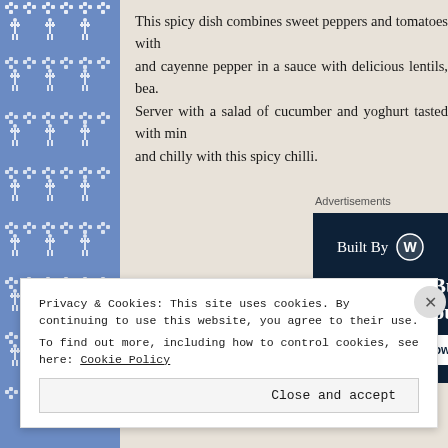[Figure (illustration): Blue decorative Nordic/Fair Isle knit pattern border on left side with reindeer and snowflake motifs in white on blue background]
This spicy dish combines sweet peppers and tomatoes with and cayenne pepper in a sauce with delicious lentils, bea. Server with a salad of cucumber and yoghurt tasted with min and chilly with this spicy chilli.
Advertisements
[Figure (screenshot): WordPress advertisement: 'Built By [WordPress logo] Your site. Built by us. Built for you.' with a 'Get a quote now' button and a website screenshot on dark navy background]
Privacy & Cookies: This site uses cookies. By continuing to use this website, you agree to their use.
To find out more, including how to control cookies, see here: Cookie Policy
Close and accept